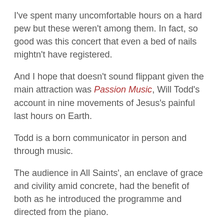I've spent many uncomfortable hours on a hard pew but these weren't among them. In fact, so good was this concert that even a bed of nails mightn't have registered.
And I hope that doesn't sound flippant given the main attraction was Passion Music, Will Todd's account in nine movements of Jesus's painful last hours on Earth.
Todd is a born communicator in person and through music.
The audience in All Saints', an enclave of grace and civility amid concrete, had the benefit of both as he introduced the programme and directed from the piano.
First, though, he reminded us that many in the world are currently unable to enjoy music of any sort in ...